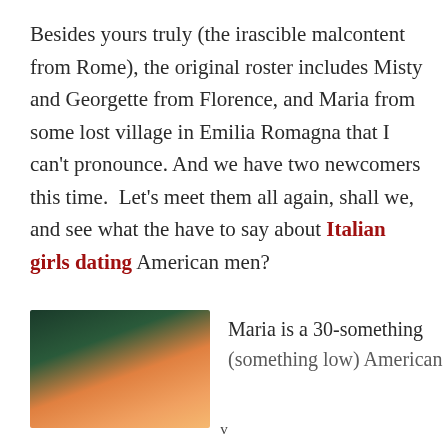Besides yours truly (the irascible malcontent from Rome), the original roster includes Misty and Georgette from Florence, and Maria from some lost village in Emilia Romagna that I can't pronounce. And we have two newcomers this time.  Let's meet them all again, shall we, and see what the have to say about Italian girls dating American men?
[Figure (photo): Photo of a person, showing the top of a head with dark background fading to orange/skin tone at the bottom — appears to be a cropped portrait photo.]
Maria is a 30-something (something low) American
v